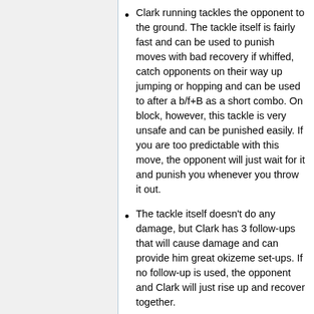Clark running tackles the opponent to the ground. The tackle itself is fairly fast and can be used to punish moves with bad recovery if whiffed, catch opponents on their way up jumping or hopping and can be used to after a b/f+B as a short combo. On block, however, this tackle is very unsafe and can be punished easily. If you are too predictable with this move, the opponent will just wait for it and punish you whenever you throw it out.
The tackle itself doesn't do any damage, but Clark has 3 follow-ups that will cause damage and can provide him great okizeme set-ups. If no follow-up is used, the opponent and Clark will just rise up and recover together.